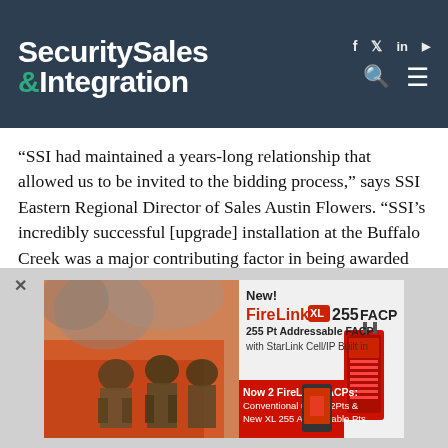Security Sales & Integration
“SSI had maintained a years-long relationship that allowed us to be invited to the bidding process,” says SSI Eastern Regional Director of Sales Austin Flowers. “SSI’s incredibly successful [upgrade] installation at the Buffalo Creek was a major contributing factor in being awarded the project.”
The job involved extensive upgrades at three separate New York facilities — a 15,000-square-foot,
[Figure (infographic): Advertisement for FireLink XL 255 FACP showing firefighters in background and product image. Text: New! FireLink XL 255 FACP. 255 Pt Addressable FACP with StarLink Cell/IP Built in. Now 2 FireLink FACPs: Conventional up to 32Pts & New XL 255 Addressable Pts.]